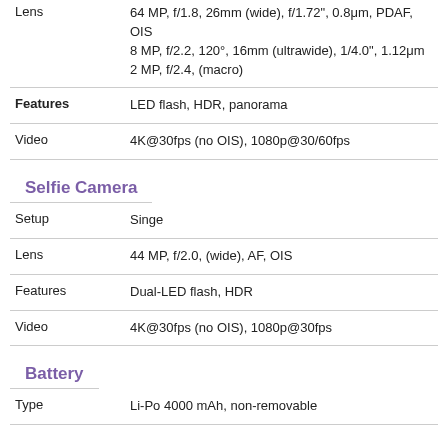| Attribute | Value |
| --- | --- |
| Lens | 64 MP, f/1.8, 26mm (wide), f/1.72", 0.8μm, PDAF, OIS
8 MP, f/2.2, 120°, 16mm (ultrawide), 1/4.0", 1.12μm
2 MP, f/2.4, (macro) |
| Features | LED flash, HDR, panorama |
| Video | 4K@30fps (no OIS), 1080p@30/60fps |
Selfie Camera
| Attribute | Value |
| --- | --- |
| Setup | Singe |
| Lens | 44 MP, f/2.0, (wide), AF, OIS |
| Features | Dual-LED flash, HDR |
| Video | 4K@30fps (no OIS), 1080p@30fps |
Battery
| Attribute | Value |
| --- | --- |
| Type | Li-Po 4000 mAh, non-removable |